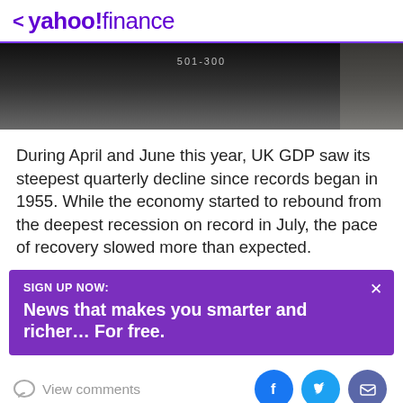< yahoo!finance
[Figure (photo): Blurred video thumbnail with dark background and text '501-300' overlaid]
During April and June this year, UK GDP saw its steepest quarterly decline since records began in 1955. While the economy started to rebound from the deepest recession on record in July, the pace of recovery slowed more than expected.
SIGN UP NOW:
News that makes you smarter and richer... For free.
View comments